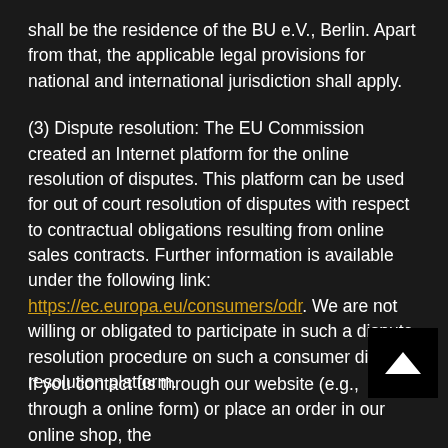shall be the residence of the BU e.V., Berlin. Apart from that, the applicable legal provisions for national and international jurisdiction shall apply.
(3) Dispute resolution: The EU Commission created an Internet platform for the online resolution of disputes. This platform can be used for out of court resolution of disputes with respect to contractual obligations resulting from online sales contracts. Further information is available under the following link: https://ec.europa.eu/consumers/odr. We are not willing or obligated to participate in such a dispute resolution procedure on such a consumer dispute resolution platform.
If you contact us through our website (e.g., through an online form) or place an order in our online shop, the